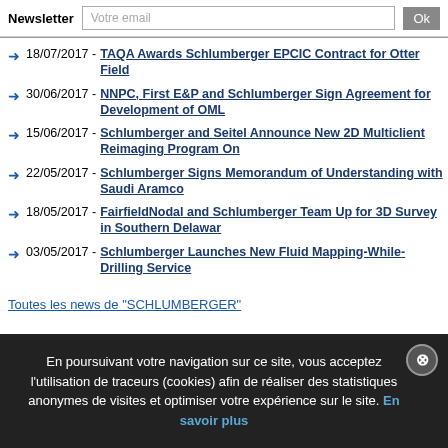Newsletter | Votre email | Ok
18/07/2017 - TAQA Awards Schlumberger EPCIC Contract for Otter Field
30/06/2017 - NNPC, First E&P and Schlumberger Sign Agreement for Development of OML
15/06/2017 - Schlumberger and Seitel Announce New 2D Multiclient Reimaging Program On
22/05/2017 - Schlumberger Signs Memorandum of Understanding with Saudi Aramco
18/05/2017 - FairfieldNodal and Schlumberger Team Up for 3D Survey in Southern Delawar
03/05/2017 - Schlumberger Launches New Fluid Mapping-While-Drilling Service
Toutes les news de "SCHLUMBERGER"
En poursuivant votre navigation sur ce site, vous acceptez l'utilisation de traceurs (cookies) afin de réaliser des statistiques anonymes de visites et optimiser votre expérience sur le site. En savoir plus